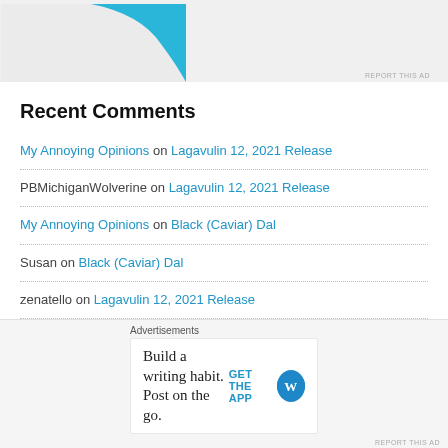[Figure (illustration): Partial advertisement image with blue curved shape on light gray background, with 'REPORT THIS AD' text below]
Recent Comments
My Annoying Opinions on Lagavulin 12, 2021 Release
PBMichiganWolverine on Lagavulin 12, 2021 Release
My Annoying Opinions on Black (Caviar) Dal
Susan on Black (Caviar) Dal
zenatello on Lagavulin 12, 2021 Release
My Annoying Opinions on Lagavulin 12, 2021 Release
zenatello on Lagavulin 12, 2021 Release
[Figure (advertisement): Advertisements banner: 'Build a writing habit. Post on the go.' with GET THE APP button and WordPress logo]